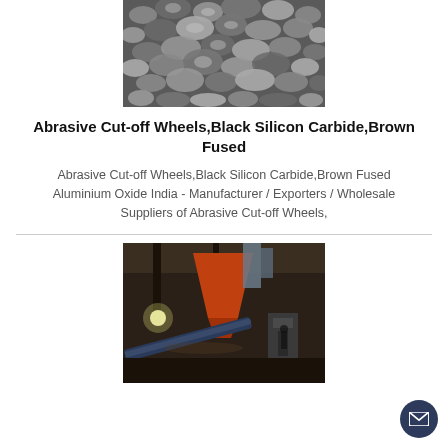[Figure (photo): Close-up photo of dark gray/black gravel or crushed stone aggregate material]
Abrasive Cut-off Wheels,Black Silicon Carbide,Brown Fused
Abrasive Cut-off Wheels,Black Silicon Carbide,Brown Fused Aluminium Oxide India - Manufacturer / Exporters / Wholesale Suppliers of Abrasive Cut-off Wheels,
[Figure (photo): Industrial factory interior showing machinery with an orange hopper/funnel and conveyor belt equipment in a dark warehouse setting]